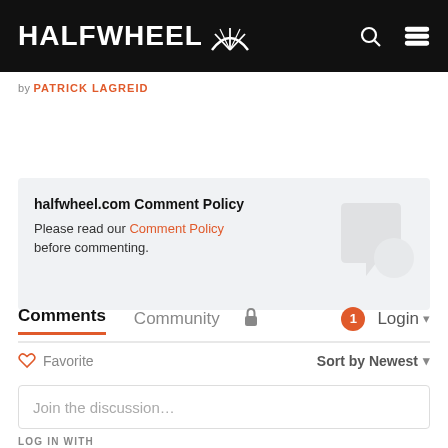HALFWHEEL
by PATRICK LAGREID
halfwheel.com Comment Policy
Please read our Comment Policy before commenting.
Comments  Community  Login
Favorite  Sort by Newest
Join the discussion…
LOG IN WITH